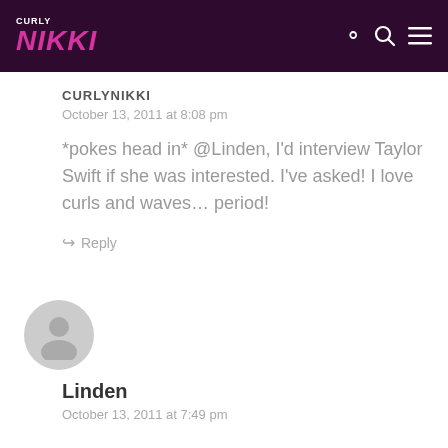CURLY NIKKI
CURLYNIKKI
October 13, 2011 at 8:08 pm
*pokes head in* @Linden, I'd interview Taylor Swift if she was interested. I've asked! I love curls and waves… period!
Reply
[Figure (illustration): Generic user avatar circle with person silhouette icon in gray]
Linden
October 13, 2011 at 7:49 pm